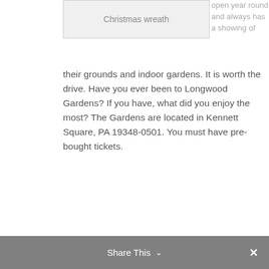[Figure (other): Image placeholder showing 'Christmas wreath']
open year round and always has a showing of
their grounds and indoor gardens. It is worth the drive. Have you ever been to Longwood Gardens? If you have, what did you enjoy the most? The Gardens are located in Kennett Square, PA 19348-0501. You must have pre-bought tickets.
Central Ticketing is P.O.
[Figure (other): Image placeholder with small image icon in top-left corner]
Share This  ✕